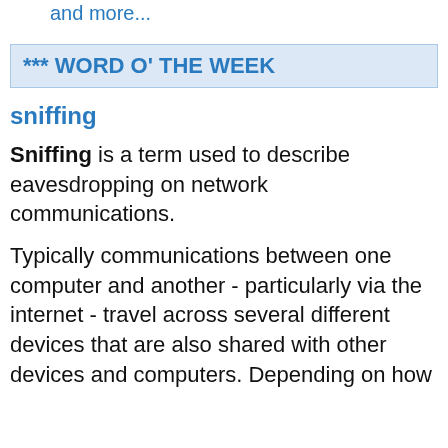popups, warnings, downloads and more...
*** WORD O' THE WEEK
sniffing
Sniffing is a term used to describe eavesdropping on network communications.
Typically communications between one computer and another - particularly via the internet - travel across several different devices that are also shared with other devices and computers. Depending on how